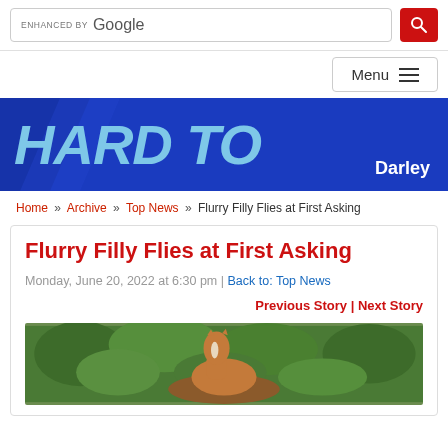ENHANCED BY Google [search] [Menu]
[Figure (illustration): Hard To [name] banner advertisement with blue background and Darley branding]
Home » Archive » Top News » Flurry Filly Flies at First Asking
Flurry Filly Flies at First Asking
Monday, June 20, 2022 at 6:30 pm | Back to: Top News
Previous Story | Next Story
[Figure (photo): Photo of a chestnut horse with white blaze, green foliage background]